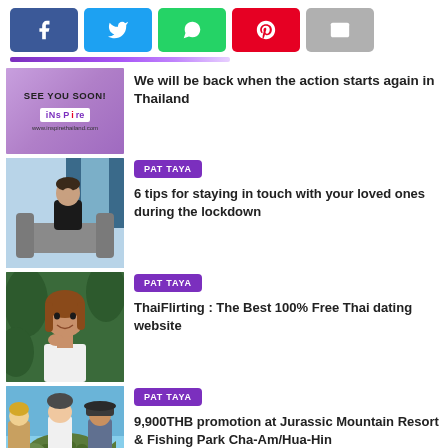[Figure (other): Social media share buttons: Facebook (blue), Twitter (cyan), WhatsApp (green), Pinterest (red), Email (gray)]
[Figure (other): Purple decorative divider bar (partial, cropped at top)]
[Figure (photo): Inspire Thailand logo on purple background with 'SEE YOU SOON!' text]
We will be back when the action starts again in Thailand
[Figure (photo): Person sitting on sofa indoors]
PAT TAYA
6 tips for staying in touch with your loved ones during the lockdown
[Figure (photo): Smiling young woman outdoors]
PAT TAYA
ThaiFlirting : The Best 100% Free Thai dating website
[Figure (photo): Group of people fishing, holding a large fish, outdoors]
PAT TAYA
9,900THB promotion at Jurassic Mountain Resort & Fishing Park Cha-Am/Hua-Hin